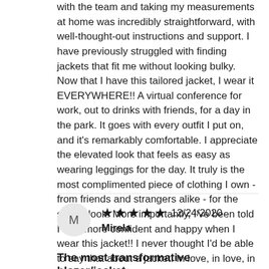with the team and taking my measurements at home was incredibly straightforward, with well-thought-out instructions and support. I have previously struggled with finding jackets that fit me without looking bulky. Now that I have this tailored jacket, I wear it EVERYWHERE!! A virtual conference for work, out to drinks with friends, for a day in the park. It goes with every outfit I put on, and it's remarkably comfortable. I appreciate the elevated look that feels as easy as wearing leggings for the day. It truly is the most complimented piece of clothing I own - from friends and strangers alike - for the stylish look. More importantly, I've been told I look more confident and happy when I wear this jacket!! I never thought I'd be able to say that about a jacket. In love, in love, in love <3
M
★★★★★ 12/24/2020
Mirela
The most transformative blazer/jacket...